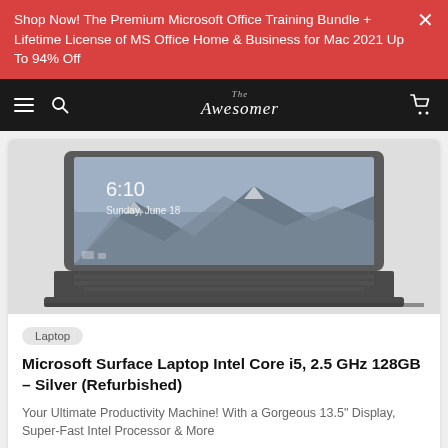Shop Now! The Premium Microsoft Office Training Bundle + Lifetime License of MS Office Home & Business for Mac 2021 Up To 94% Off
[Figure (screenshot): The Awesomer website navigation bar with hamburger menu, search icon, logo, and cart icon on dark background]
[Figure (photo): Microsoft Surface Laptop shown open with a mountain landscape lock screen displaying 6:10 time and Sunday, June 18 date]
Laptop
Microsoft Surface Laptop Intel Core i5, 2.5 GHz 128GB – Silver (Refurbished)
Your Ultimate Productivity Machine! With a Gorgeous 13.5" Display, Super-Fast Intel Processor & More
$368.99  $549.00